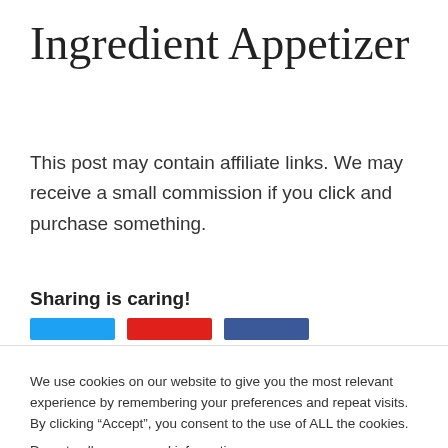Ingredient Appetizer
This post may contain affiliate links. We may receive a small commission if you click and purchase something.
Sharing is caring!
[Figure (other): Three social share buttons: blue (Twitter/Facebook), red (Pinterest), and dark blue (Facebook/LinkedIn)]
We use cookies on our website to give you the most relevant experience by remembering your preferences and repeat visits. By clicking “Accept”, you consent to the use of ALL the cookies.
Do not sell my personal information.
Cookie Settings   Accept